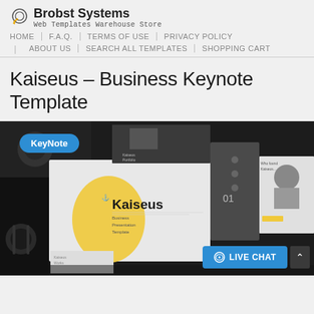Brobst Systems — Web Templates Warehouse Store | HOME | F.A.Q. | TERMS OF USE | PRIVACY POLICY | ABOUT US | SEARCH ALL TEMPLATES | SHOPPING CART
Kaiseus – Business Keynote Template
[Figure (screenshot): Product preview image showing Kaiseus Business Keynote Template with multiple slide layouts visible, dark backgrounds with yellow accents, including a 'KeyNote' badge in blue and a 'LIVE CHAT' button overlay at the bottom right.]